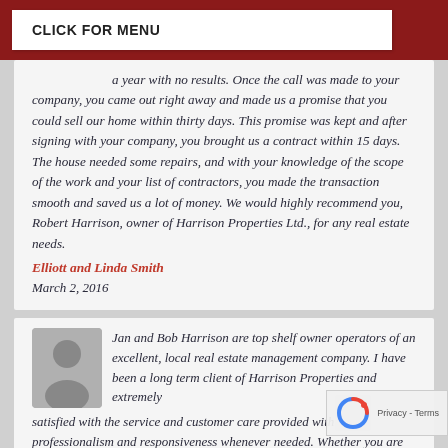CLICK FOR MENU
a year with no results. Once the call was made to your company, you came out right away and made us a promise that you could sell our home within thirty days. This promise was kept and after signing with your company, you brought us a contract within 15 days. The house needed some repairs, and with your knowledge of the scope of the work and your list of contractors, you made the transaction smooth and saved us a lot of money. We would highly recommend you, Robert Harrison, owner of Harrison Properties Ltd., for any real estate needs.
Elliott and Linda Smith
March 2, 2016
Jan and Bob Harrison are top shelf owner operators of an excellent, local real estate management company. I have been a long term client of Harrison Properties and extremely satisfied with the service and customer care provided with professionalism and responsiveness whenever needed. Whether you are looking to rent, buy, lease or sell, I highly recommend Jan, Bob and Harrison Properties to meet your real estate needs. Bob and Jan were always there to meet my